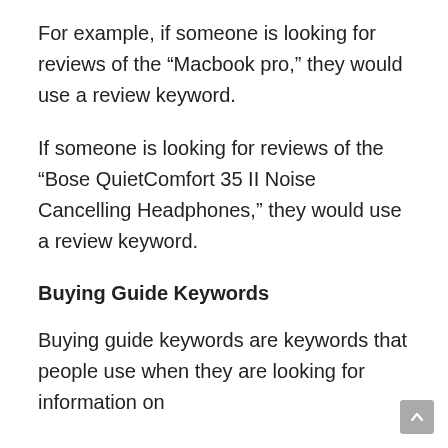For example, if someone is looking for reviews of the “Macbook pro,” they would use a review keyword.
If someone is looking for reviews of the “Bose QuietComfort 35 II Noise Cancelling Headphones,” they would use a review keyword.
Buying Guide Keywords
Buying guide keywords are keywords that people use when they are looking for information on